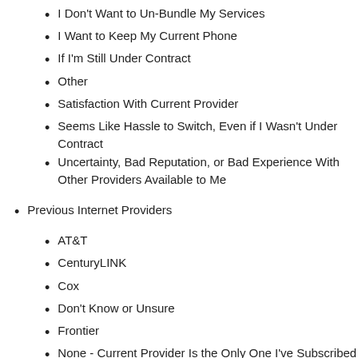I Don't Want to Un-Bundle My Services
I Want to Keep My Current Phone
If I'm Still Under Contract
Other
Satisfaction With Current Provider
Seems Like Hassle to Switch, Even if I Wasn't Under Contract
Uncertainty, Bad Reputation, or Bad Experience With Other Providers Available to Me
Previous Internet Providers
AT&T
CenturyLINK
Cox
Don't Know or Unsure
Frontier
None - Current Provider Is the Only One I've Subscribed To